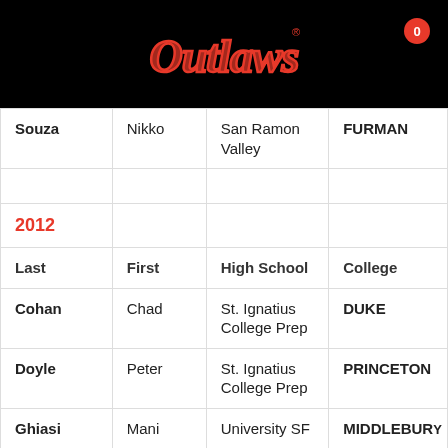[Figure (logo): Outlaws script logo in red/pink neon style on black background]
| Last | First | High School | College |
| --- | --- | --- | --- |
| Souza | Nikko | San Ramon Valley | FURMAN |
|  |  |  |  |
| 2012 |  |  |  |
| Last | First | High School | College |
| Cohan | Chad | St. Ignatius College Prep | DUKE |
| Doyle | Peter | St. Ignatius College Prep | PRINCETON |
| Ghiasi | Mani | University SF | MIDDLEBURY |